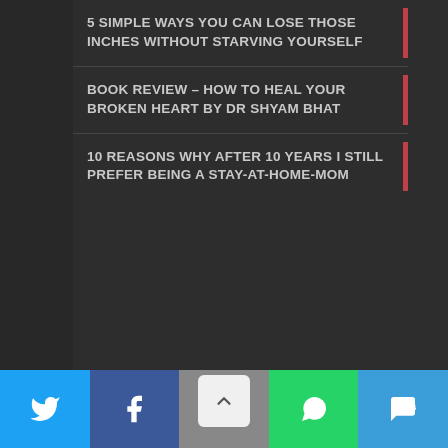5 SIMPLE WAYS YOU CAN LOSE THOSE INCHES WITHOUT STARVING YOURSELF
BOOK REVIEW – HOW TO HEAL YOUR BROKEN HEART BY DR SHYAM BHAT
10 REASONS WHY AFTER 10 YEARS I STILL PREFER BEING A STAY-AT-HOME-MOM
© 2020 BLOGABERRY FOO. All Rights Reserved. Developed by KreaCions